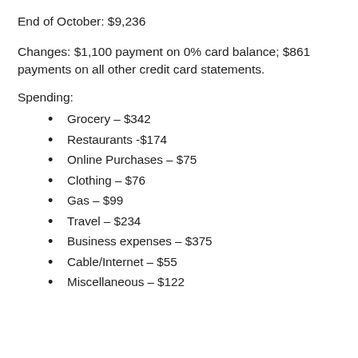End of October: $9,236
Changes: $1,100 payment on 0% card balance; $861 payments on all other credit card statements.
Spending:
Grocery – $342
Restaurants -$174
Online Purchases – $75
Clothing – $76
Gas – $99
Travel – $234
Business expenses – $375
Cable/Internet – $55
Miscellaneous – $122